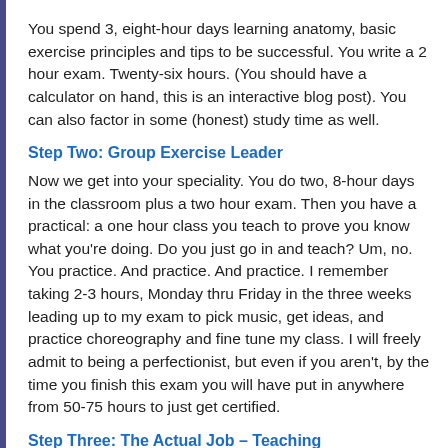You spend 3, eight-hour days learning anatomy, basic exercise principles and tips to be successful.  You write a 2 hour exam.  Twenty-six hours.  (You should have a calculator on hand, this is an interactive blog post).  You can also factor in some (honest) study time as well.
Step Two: Group Exercise Leader
Now we get into your speciality.  You do two, 8-hour days in the classroom plus a two hour exam.  Then you have a practical: a one hour class you teach to prove you know what you're doing.  Do you just go in and teach?  Um, no.  You practice.  And practice.  And practice.  I remember taking 2-3 hours, Monday thru Friday in the three weeks leading up to my exam to pick music, get ideas, and practice choreography and fine tune my class.  I will freely admit to being a perfectionist, but even if you aren't, by the time you finish this exam you will have put in anywhere from 50-75 hours to just get certified.
Step Three: The Actual Job – Teaching
Okay, you're certified and ready to go!  Now what?  Oh, right, more practice.  Whether you had a job lined up or have to sub